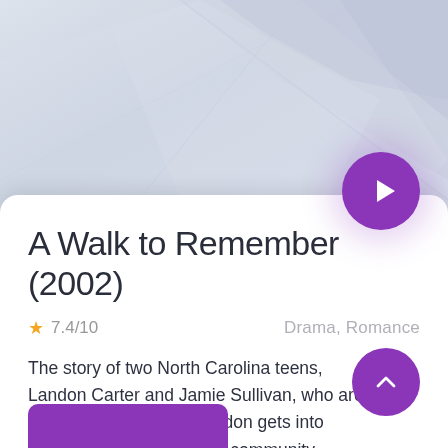[Figure (illustration): Abstract geometric background with light gray and bluish-lavender diagonal shapes on a grayish-blue gradient background]
A Walk to Remember (2002)
★ 7.4/10    Drama, Romance
The story of two North Carolina teens, Landon Carter and Jamie Sullivan, who are thrown together after Landon gets into trouble and is made to do community service.